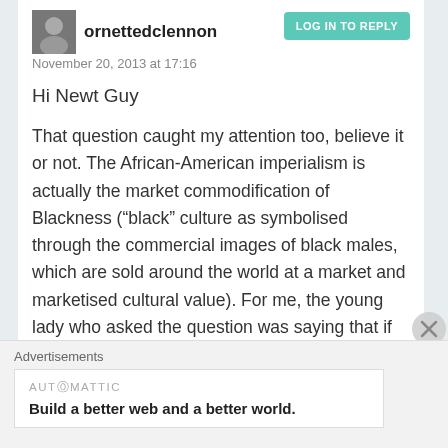ornettedclennon | November 20, 2013 at 17:16 | LOG IN TO REPLY
Hi Newt Guy
That question caught my attention too, believe it or not. The African-American imperialism is actually the market commodification of Blackness (“black” culture as symbolised through the commercial images of black males, which are sold around the world at a market and marketised cultural value). For me, the young lady who asked the question was saying that if we take these “commercial” or global representations of “blackness” as actually
Advertisements
AUTOMATTIC
Build a better web and a better world.